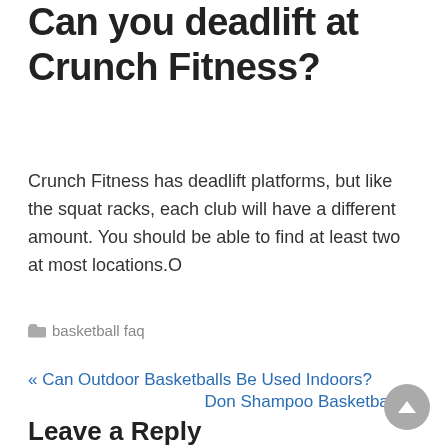Can you deadlift at Crunch Fitness?
Crunch Fitness has deadlift platforms, but like the squat racks, each club will have a different amount. You should be able to find at least two at most locations.O
basketball faq
« Can Outdoor Basketballs Be Used Indoors?
Don Shampoo Basketball? »
Leave a Reply
Your email address will not be published. Required fields are marked *